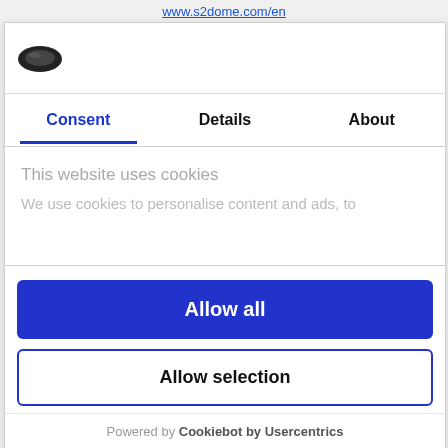www.s2dome.com/en
[Figure (logo): Cookiebot logo — dark oval cookie icon]
Consent | Details | About
This website uses cookies
We use cookies to personalise content and ads, to
Allow all
Allow selection
Deny
Powered by Cookiebot by Usercentrics